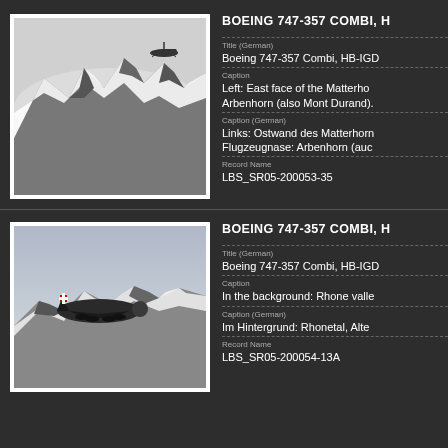BOEING 747-357 COMBI, H
[Figure (photo): Black and white aerial photo of a Swiss Air Boeing 747 flying over snow-covered mountain peaks, likely the Matterhorn area, taken from above]
Title (German)
Boeing 747-357 Combi, HB-IGD
Caption
Left: East face of the Matterho Arbenhorn (also Mont Durand).
Caption (German)
Links: Ostwand des Matterhorn Flugzeugnase: Arbenhorn (auc
Record Name
LBS_SR05-200053-35
BOEING 747-357 COMBI, H
[Figure (photo): Black and white photo of a Swissair Boeing 747-357 Combi aircraft in flight over mountains with Rhone valley visible in background]
Title (German)
Boeing 747-357 Combi, HB-IGD
Caption
In the background: Rhone valle
Caption (German)
Im Hintergrund: Rhonetal, Alte
Record Name
LBS_SR05-200054-13A